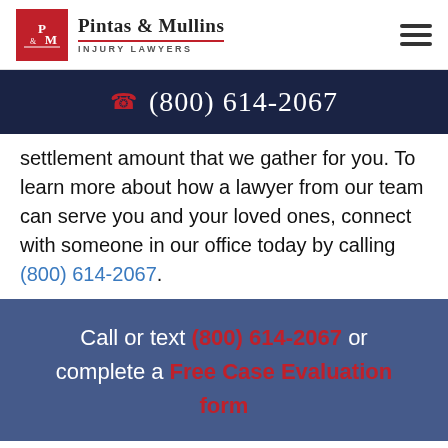Pintas & Mullins Injury Lawyers
(800) 614-2067
settlement amount that we gather for you. To learn more about how a lawyer from our team can serve you and your loved ones, connect with someone in our office today by calling (800) 614-2067.
Call or text (800) 614-2067 or complete a Free Case Evaluation form